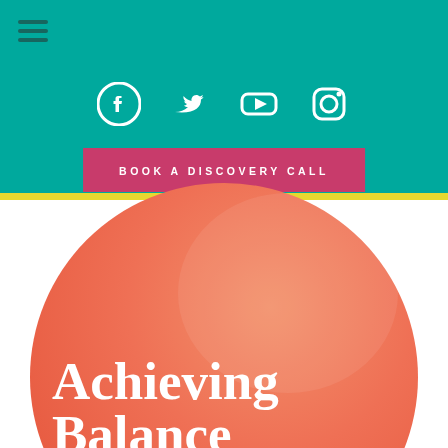[Figure (screenshot): Teal navigation header with hamburger menu icon, social media icons (Facebook, Twitter, YouTube, Instagram), a pink 'BOOK A DISCOVERY CALL' button, yellow strip divider, and large orange circle with 'Achieving Balance The truths' text in white and yellow serif font]
Achieving Balance The truths